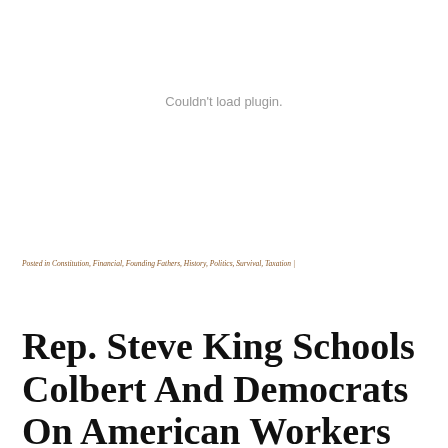[Figure (other): Embedded plugin area showing 'Couldn't load plugin.' error message in gray text]
Posted in Constitution, Financial, Founding Fathers, History, Politics, Survival, Taxation |
Rep. Steve King Schools Colbert And Democrats On American Workers